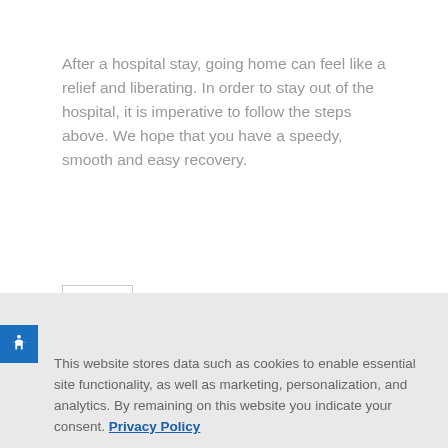After a hospital stay, going home can feel like a relief and liberating. In order to stay out of the hospital, it is imperative to follow the steps above. We hope that you have a speedy, smooth and easy recovery.
Tags:
◀ PREVIOUS
This website stores data such as cookies to enable essential site functionality, as well as marketing, personalization, and analytics. By remaining on this website you indicate your consent. Privacy Policy